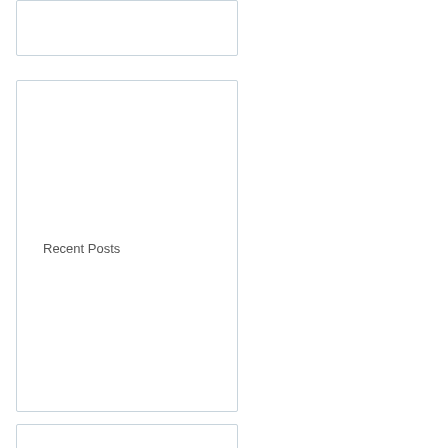[Figure (other): Top card/widget box, mostly empty]
Recent Posts
[Figure (other): Middle card/widget box with Recent Posts heading]
Intraductal papilloma